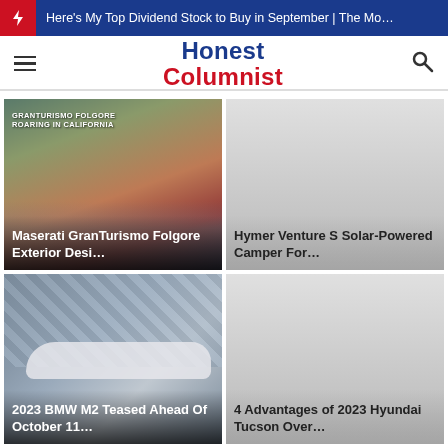Here's My Top Dividend Stock to Buy in September | The Mo…
Honest Columnist
[Figure (photo): Maserati GranTurismo Folgore sports car on a road, with overlay text 'GRANTURISMO FOLGORE ROARING IN CALIFORNIA']
Maserati GranTurismo Folgore Exterior Desi…
[Figure (photo): Gray placeholder card for Hymer Venture S Solar-Powered Camper article]
Hymer Venture S Solar-Powered Camper For…
[Figure (photo): 2023 BMW M2 camouflaged prototype test car photographed outside a building]
2023 BMW M2 Teased Ahead Of October 11…
[Figure (photo): Gray placeholder card for 4 Advantages of 2023 Hyundai Tucson article]
4 Advantages of 2023 Hyundai Tucson Over…